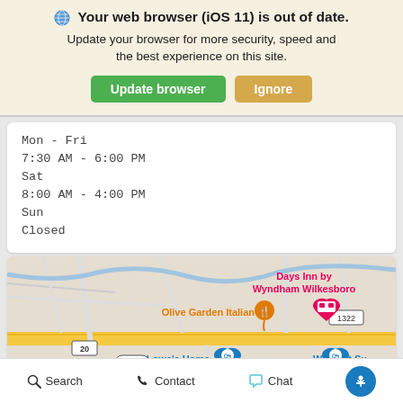🌐 Your web browser (iOS 11) is out of date. Update your browser for more security, speed and the best experience on this site.
Update browser | Ignore
Mon - Fri
7:30 AM - 6:00 PM
Sat
8:00 AM - 4:00 PM
Sun
Closed
[Figure (map): Google Maps showing area near Wilkesboro NC with markers for Days Inn by Wyndham Wilkesboro (pink), Olive Garden Italian (orange), Lowe's Home Improvement (blue), Walmart Su (blue), road 20, road 1182, road 1322]
Search  Contact  Chat  [accessibility icon]